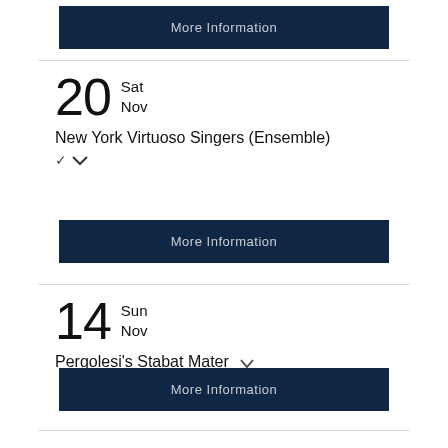More Information
20 Sat Nov
New York Virtuoso Singers (Ensemble)
More Information
14 Sun Nov
Pergolesi's Stabat Mater
More Information